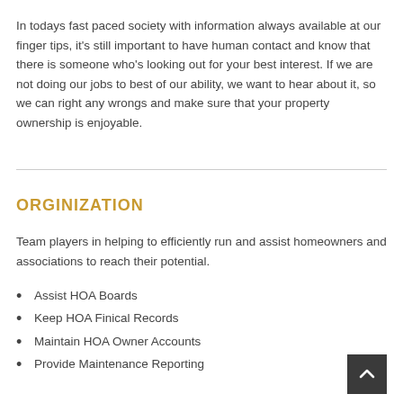In todays fast paced society with information always available at our finger tips, it's still important to have human contact and know that there is someone who's looking out for your best interest. If we are not doing our jobs to best of our ability, we want to hear about it, so we can right any wrongs and make sure that your property ownership is enjoyable.
ORGINIZATION
Team players in helping to efficiently run and assist homeowners and associations to reach their potential.
Assist HOA Boards
Keep HOA Finical Records
Maintain HOA Owner Accounts
Provide Maintenance Reporting